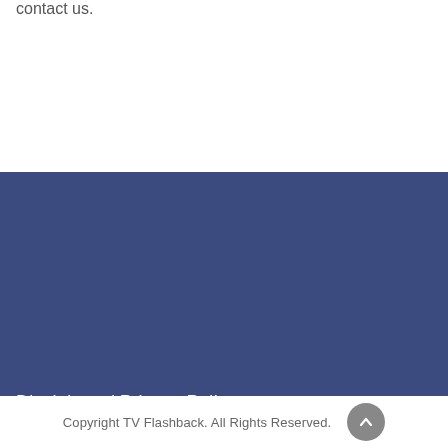contact us.
Disclaimer / Privacy Policy
Copyright TV Flashback. All Rights Reserved.